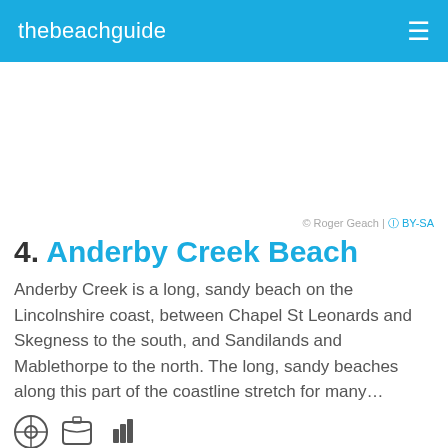thebeachguide
[Figure (other): Advertisement/blank white area placeholder]
© Roger Geach | CC BY-SA
4. Anderby Creek Beach
Anderby Creek is a long, sandy beach on the Lincolnshire coast, between Chapel St Leonards and Skegness to the south, and Sandilands and Mablethorpe to the north. The long, sandy beaches along this part of the coastline stretch for many…
[Figure (illustration): Row of small icons at the bottom of the page]